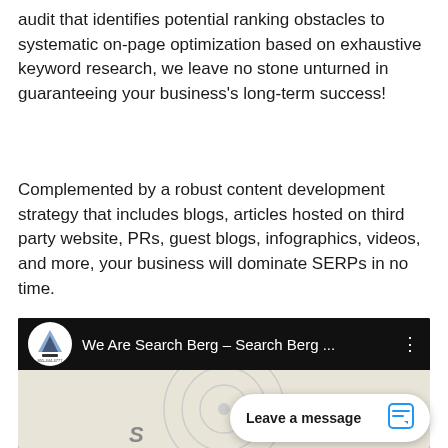audit that identifies potential ranking obstacles to systematic on-page optimization based on exhaustive keyword research, we leave no stone unturned in guaranteeing your business's long-term success!
Complemented by a robust content development strategy that includes blogs, articles hosted on third party website, PRs, guest blogs, infographics, videos, and more, your business will dominate SERPs in no time.
[Figure (screenshot): Video thumbnail showing 'We Are Search Berg – Search Berg ...' with a Search Berg logo on the left and three-dot menu on the right, on a dark/black background. Below the title bar is a light beige thumbnail area with concentric circle shapes and a partial figure.]
Leave a message